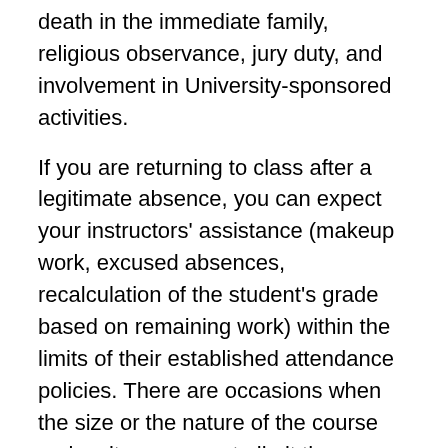death in the immediate family, religious observance, jury duty, and involvement in University-sponsored activities.
If you are returning to class after a legitimate absence, you can expect your instructors' assistance (makeup work, excused absences, recalculation of the student's grade based on remaining work) within the limits of their established attendance policies. There are occasions when the size or the nature of the course makes it necessary to limit the number of excused absences or the availability of makeup work, particularly for examinations or such special events as field trips or outside speakers. Such limitations should be explained in the instructor's attendance policy at the beginning of each course you are involved in University activities that may